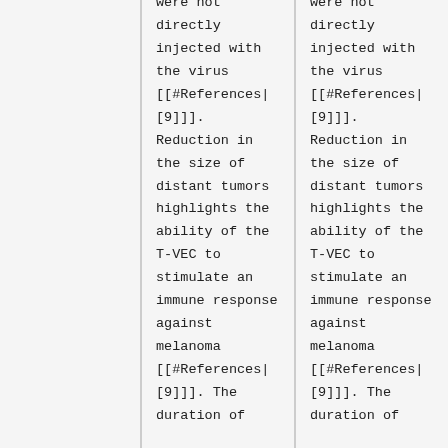were not directly injected with the virus [[#References|[9]]]. Reduction in the size of distant tumors highlights the ability of the T-VEC to stimulate an immune response against melanoma [[#References|[9]]]. The duration of
were not directly injected with the virus [[#References|[9]]]. Reduction in the size of distant tumors highlights the ability of the T-VEC to stimulate an immune response against melanoma [[#References|[9]]]. The duration of